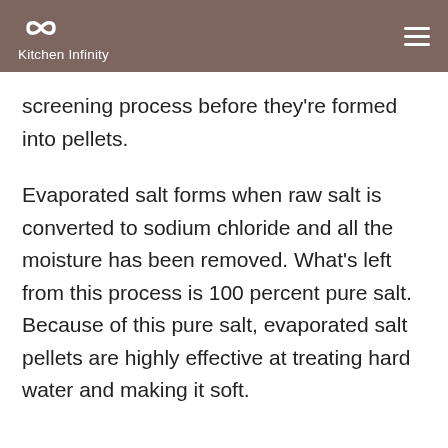Kitchen Infinity
screening process before they're formed into pellets.
Evaporated salt forms when raw salt is converted to sodium chloride and all the moisture has been removed. What's left from this process is 100 percent pure salt. Because of this pure salt, evaporated salt pellets are highly effective at treating hard water and making it soft.